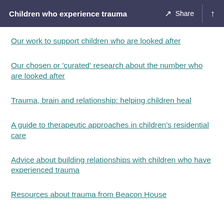Children who experience trauma  Share
Our work to support children who are looked after
Our chosen or 'curated' research about the number who are looked after
Trauma, brain and relationship: helping children heal
A guide to therapeutic approaches in children's residential care
Advice about building relationships with children who have experienced trauma
Resources about trauma from Beacon House